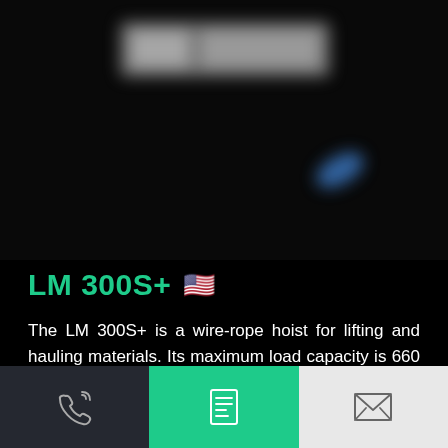[Figure (photo): Dark background with blurred/out-of-focus image of the LM 300S+ wire-rope hoist product against a near-black background]
LM 300S+ 🇺🇸
The LM 300S+ is a wire-rope hoist for lifting and hauling materials. Its maximum load capacity is 660 lbs (300 kg).
[Figure (infographic): Bottom navigation bar with three sections: dark grey section with phone/call icon, green section with document/catalog icon, light grey section with mail/envelope icon]